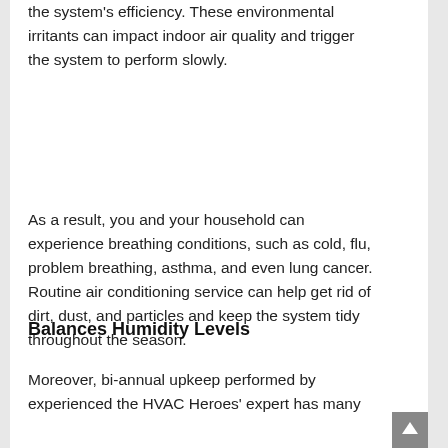the system's efficiency. These environmental irritants can impact indoor air quality and trigger the system to perform slowly.
As a result, you and your household can experience breathing conditions, such as cold, flu, problem breathing, asthma, and even lung cancer. Routine air conditioning service can help get rid of dirt, dust, and particles and keep the system tidy throughout the season.
Balances Humidity Levels
Moreover, bi-annual upkeep performed by experienced the HVAC Heroes' expert has many